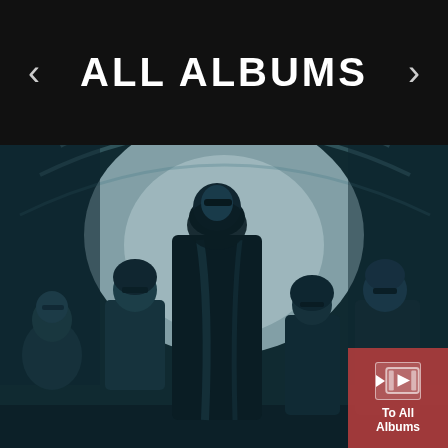ALL ALBUMS
[Figure (photo): Black and white band photo with blue tint showing four musicians standing in front of a brick arch tunnel. Lead figure in center wearing black leather jacket and sunglasses.]
To All Albums